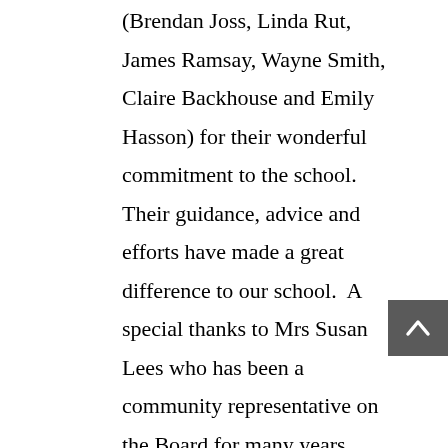(Brendan Joss, Linda Rut, James Ramsay, Wayne Smith, Claire Backhouse and Emily Hasson) for their wonderful commitment to the school.  Their guidance, advice and efforts have made a great difference to our school.  A special thanks to Mrs Susan Lees who has been a community representative on the Board for many years, representing Kent Street SHS.  She has moved to a new school in the country and so can no longer join us.  We thank her for her many years of service and wish her all the very best.

Our new parent representatives are: